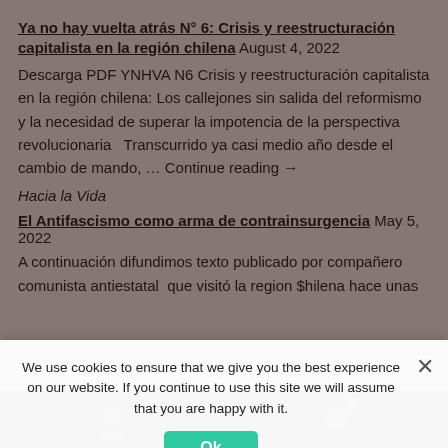Ya no hay vuelta atrás N° 6: Crisis y reestructuración capitalista en la región chilena August 4, 2022
Descarga PDF YNHVA N6 Crisis y reestructuración capitalista en la región chilena: Los callejones sin salida del reformismo y la necesidad de superar la impotencia de la perspectiva revolucionaria  Transcurrido ya casi medio año desde el cambio de mando, … Continue reading →
Hacia la Vida
El Antifascismo como arma de contrainsurgencia May 5, 2022
A continuación difundimos texto publicado por compañero comunista antiestatal  que visitó la region $hilena hace unas
On February 1, 2021, Our Online-Shop will be closed. All orders until January 31 will be delivered
Dismiss
We use cookies to ensure that we give you the best experience on our website. If you continue to use this site we will assume that you are happy with it.